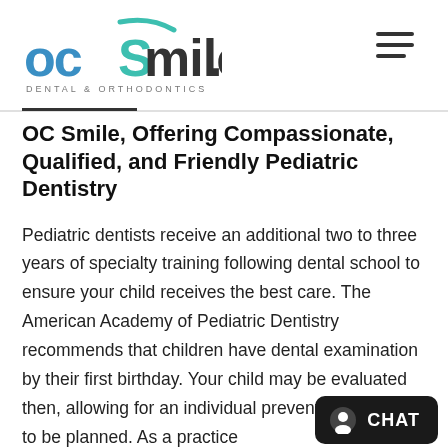[Figure (logo): OC Smile Dental & Orthodontics logo — blue and teal text with smile arc above]
OC Smile, Offering Compassionate, Qualified, and Friendly Pediatric Dentistry
Pediatric dentists receive an additional two to three years of specialty training following dental school to ensure your child receives the best care. The American Academy of Pediatric Dentistry recommends that children have dental examination by their first birthday. Your child may be evaluated then, allowing for an individual preventative program to be planned. As a practice